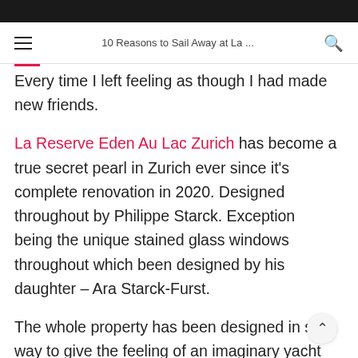10 Reasons to Sail Away at La ...
Every time I left feeling as though I had made new friends.
La Reserve Eden Au Lac Zurich has become a true secret pearl in Zurich ever since it's complete renovation in 2020. Designed throughout by Philippe Starck. Exception being the unique stained glass windows throughout which been designed by his daughter – Ara Starck-Furst.
The whole property has been designed in such way to give the feeling of an imaginary yacht